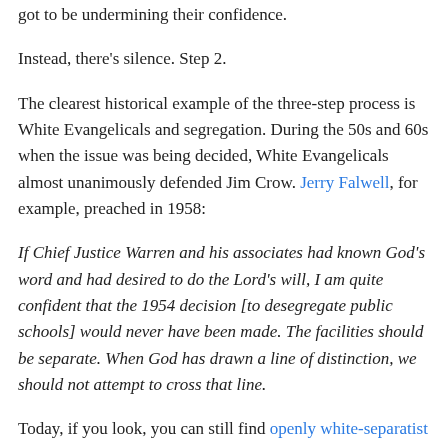got to be undermining their confidence.
Instead, there's silence. Step 2.
The clearest historical example of the three-step process is White Evangelicals and segregation. During the 50s and 60s when the issue was being decided, White Evangelicals almost unanimously defended Jim Crow. Jerry Falwell, for example, preached in 1958:
If Chief Justice Warren and his associates had known God's word and had desired to do the Lord's will, I am quite confident that the 1954 decision [to desegregate public schools] would never have been made. The facilities should be separate. When God has drawn a line of distinction, we should not attempt to cross that line.
Today, if you look, you can still find openly white-separatist branches of Christianity. But the clearest thing is...